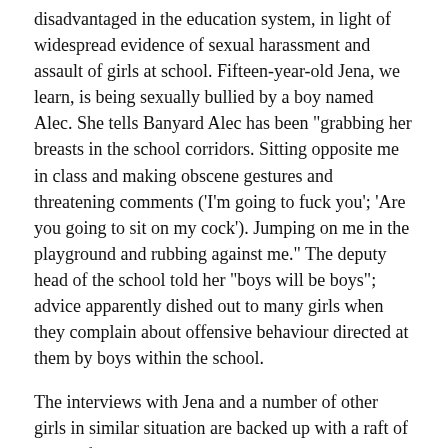disadvantaged in the education system, in light of widespread evidence of sexual harassment and assault of girls at school. Fifteen-year-old Jena, we learn, is being sexually bullied by a boy named Alec. She tells Banyard Alec has been "grabbing her breasts in the school corridors. Sitting opposite me in class and making obscene gestures and threatening comments ('I'm going to fuck you'; 'Are you going to sit on my cock'). Jumping on me in the playground and rubbing against me." The deputy head of the school told her "boys will be boys"; advice apparently dished out to many girls when they complain about offensive behaviour directed at them by boys within the school.
The interviews with Jena and a number of other girls in similar situation are backed up with a raft of discomforting statistics. To take just one example, according to the World Health Organization school is the most common setting for sexual harassment and coercion of girls.
The chapter proceeds to look at examples of how sexism operates in the classroom and beyond, from how gender roles are introduced when children are just babies, reinforced in